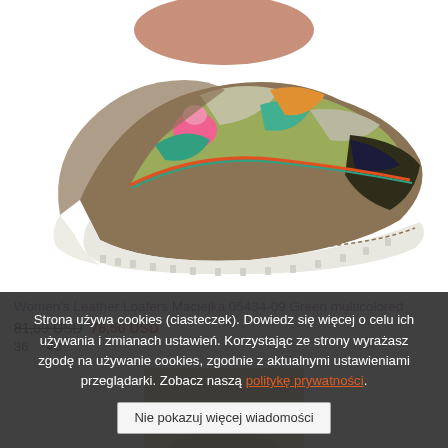[Figure (photo): Photo of colorful women's leather loafers with multicolored floral pattern and white chunky sole, shown on a person's feet against white background]
Women's Leather Loafers Maciejka 05434-09 Green multicolored
81,59 USD  76,50 USD
36    40
[Figure (photo): Partial view of another product at the bottom of the page]
Strona używa cookies (ciasteczek). Dowiedz się więcej o celu ich używania i zmianach ustawień. Korzystając ze strony wyrażasz zgodę na używanie cookies, zgodnie z aktualnymi ustawieniami przeglądarki. Zobacz naszą politykę prywatności.
Nie pokazuj więcej wiadomości